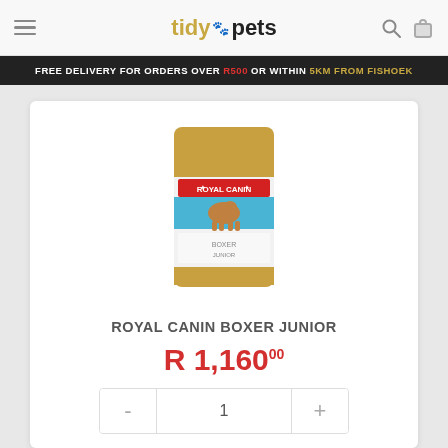tidy pets
FREE DELIVERY FOR ORDERS OVER R500 OR WITHIN 5KM FROM FISHOEK
[Figure (photo): Royal Canin Boxer Junior dog food bag product image]
ROYAL CANIN BOXER JUNIOR
R 1,160.00
- 1 +